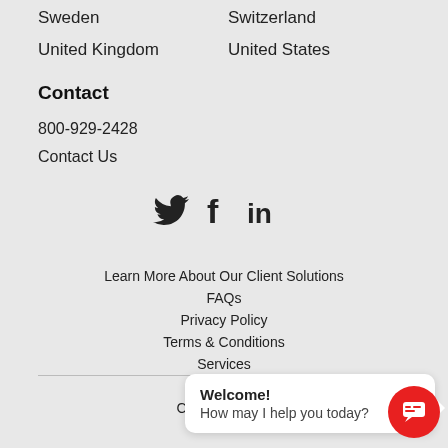Sweden
United Kingdom
Switzerland
United States
Contact
800-929-2428
Contact Us
[Figure (infographic): Social media icons: Twitter bird, Facebook f, LinkedIn in]
Learn More About Our Client Solutions
FAQs
Privacy Policy
Terms & Conditions
Services
Careers
Copyright 2022
Welcome!
How may I help you today?